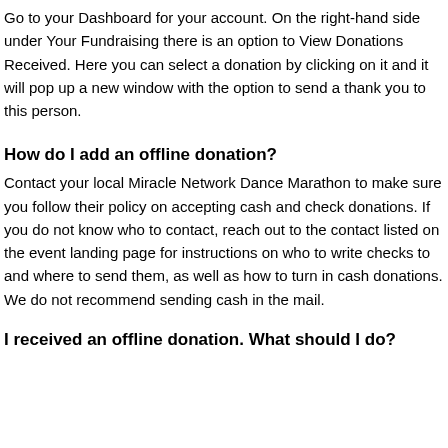Go to your Dashboard for your account. On the right-hand side under Your Fundraising there is an option to View Donations Received. Here you can select a donation by clicking on it and it will pop up a new window with the option to send a thank you to this person.
How do I add an offline donation?
Contact your local Miracle Network Dance Marathon to make sure you follow their policy on accepting cash and check donations. If you do not know who to contact, reach out to the contact listed on the event landing page for instructions on who to write checks to and where to send them, as well as how to turn in cash donations. We do not recommend sending cash in the mail.
I received an offline donation. What should I do?